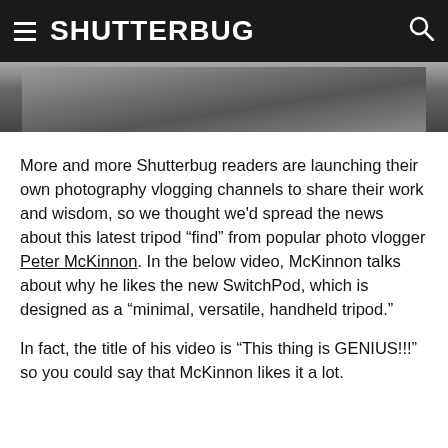SHUTTERBUG
[Figure (photo): Partial photo visible beneath the navigation header, showing a grayscale image cropped at the top]
More and more Shutterbug readers are launching their own photography vlogging channels to share their work and wisdom, so we thought we'd spread the news about this latest tripod “find” from popular photo vlogger Peter McKinnon. In the below video, McKinnon talks about why he likes the new SwitchPod, which is designed as a “minimal, versatile, handheld tripod.”
In fact, the title of his video is “This thing is GENIUS!!!” so you could say that McKinnon likes it a lot.